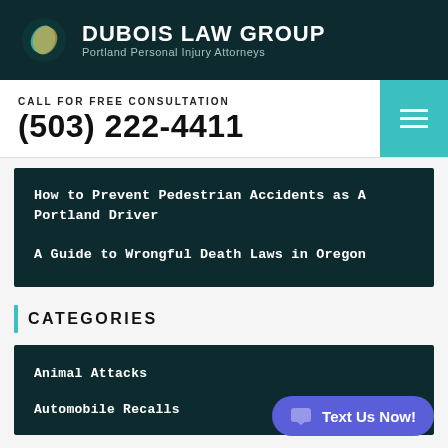DUBOIS LAW GROUP — Portland Personal Injury Attorneys
CALL FOR FREE CONSULTATION
(503) 222-4411
How to Prevent Pedestrian Accidents as A Portland Driver
A Guide to Wrongful Death Laws in Oregon
CATEGORIES
Animal Attacks
Automobile Recalls